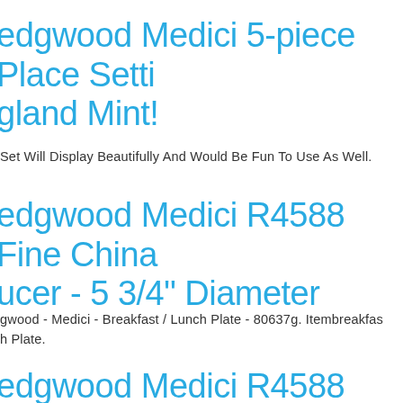edgwood Medici 5-piece Place Setting England Mint!
Set Will Display Beautifully And Would Be Fun To Use As Well.
edgwood Medici R4588 Fine China Saucer - 5 3/4" Diameter
gwood - Medici - Breakfast / Lunch Plate - 80637g. Itembreakfast Plate.
edgwood Medici R4588 Oval Serving